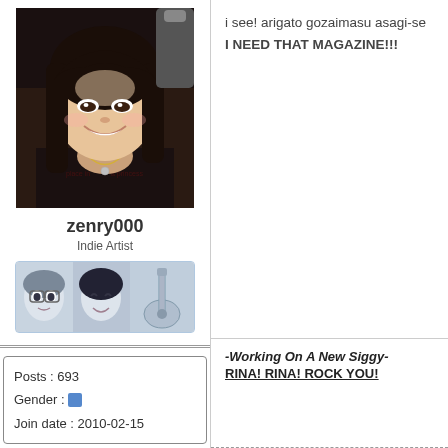[Figure (photo): Profile photo of a smiling young Asian woman with dark hair and a necklace, wearing a dark top]
zenry000
Indie Artist
[Figure (illustration): Signature image strip showing two anime-style face illustrations and a guitar graphic]
Posts : 693
Gender : [female icon]
Join date : 2010-02-15
i see! arigato gozaimasu asagi-se
I NEED THAT MAGAZINE!!!
-Working On A New Siggy-
RINA! RINA! ROCK YOU!